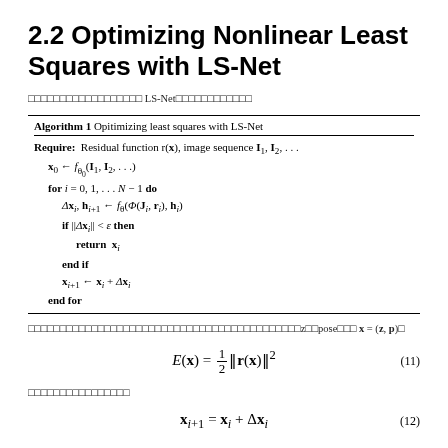2.2 Optimizing Nonlinear Least Squares with LS-Net
□□□□□□□□□□□□□□□□□□ LS-Net□□□□□□□□□□□□
| Algorithm 1 Opitimizing least squares with LS-Net |
| Require: Residual function r(x), image sequence I_1, I_2, ... |
| x_0 ← f_{θ_0}(I_1, I_2, ...) |
| for i = 0, 1, ... N − 1 do |
|   Δx_i, h_{i+1} ← f_θ(Φ(J_i, r_i), h_i) |
|   if ||Δx_i|| < ε then |
|     return x_i |
|   end if |
|   x_{i+1} ← x_i + Δx_i |
| end for |
□□□□□□□□□□□□□□□□□□□□□□□□□□□□□□□□□□□□□□□□□□□z□□pose□□□ x = (z, p)□
□□□□□□□□□□□□□□□□